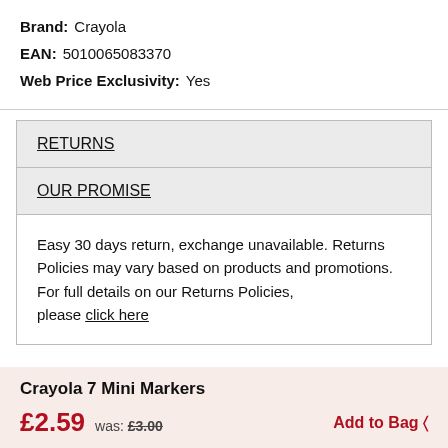Brand: Crayola
EAN: 5010065083370
Web Price Exclusivity: Yes
| RETURNS |
| OUR PROMISE |
| Easy 30 days return, exchange unavailable. Returns Policies may vary based on products and promotions. For full details on our Returns Policies, please click here |
Crayola 7 Mini Markers
£2.59  was: £3.00  Add to Bag